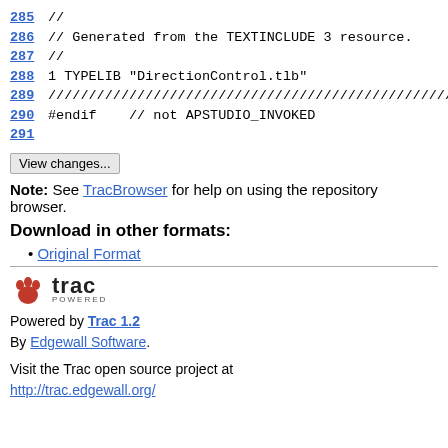285 //
286 // Generated from the TEXTINCLUDE 3 resource.
287 //
288 1 TYPELIB "DirectionControl.tlb"
289 ////////////////////////////////////////////////////////////////////////////////
290 #endif    // not APSTUDIO_INVOKED
291
View changes...
Note: See TracBrowser for help on using the repository browser.
Download in other formats:
Original Format
[Figure (logo): Trac powered logo with red paw print and bold trac wordmark]
Powered by Trac 1.2
By Edgewall Software.
Visit the Trac open source project at
http://trac.edgewall.org/